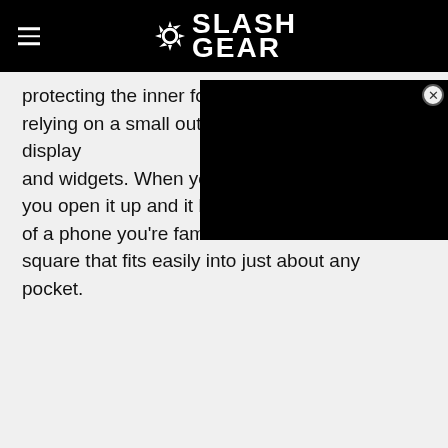SlashGear
protecting the inner folding screen, instead relying on a small outer screen to display and widgets. When you want you open it up and it becomes of a phone you're familiar with square that fits easily into just about any pocket.
[Figure (other): Black advertisement overlay with close button]
First, let's talk about nostalgia. Clamshell phones were a hit decades ago, and this phone hits me right in the feels. There's just something fun about opening a phone to accept a call and closing it when you're done. The fact that you can still get that full smartphone experience is just the cherry on top.